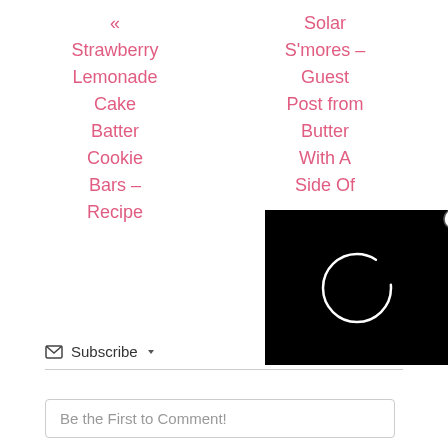« Strawberry Lemonade Cake Batter Cookie Bars – Recipe
Solar S'mores – Guest Post from Butter With A Side Of
[Figure (screenshot): Black video player overlay with a loading spinner circle in white, and an X close button in the top right corner]
Subscribe ▾
Be the First to Comment!